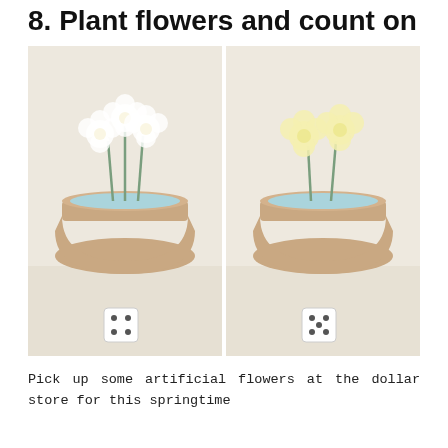8. Plant flowers and count on
[Figure (photo): Two side-by-side photos of flower pots with artificial flowers in a blue foam base inside a tan ceramic pot. Left pot has white flowers and a die showing 4 dots at the bottom. Right pot has yellow flowers and a die showing 5 dots at the bottom.]
Pick up some artificial flowers at the dollar store for this springtime